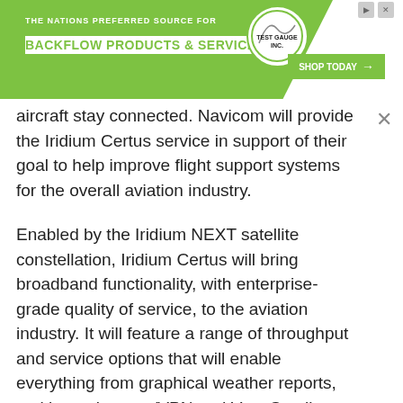[Figure (other): Advertisement banner for Test Gauge Inc. showing green diagonal background, logo circle, tagline 'THE NATIONS PREFERRED SOURCE FOR BACKFLOW PRODUCTS & SERVICES', and a 'SHOP TODAY' button with arrow]
aircraft stay connected. Navicom will provide the Iridium Certus service in support of their goal to help improve flight support systems for the overall aviation industry.
Enabled by the Iridium NEXT satellite constellation, Iridium Certus will bring broadband functionality, with enterprise-grade quality of service, to the aviation industry. It will feature a range of throughput and service options that will enable everything from graphical weather reports, multi-user internet/VPN and Very Small Aperture Terminal (VSAT) redundancy to flight data recorder